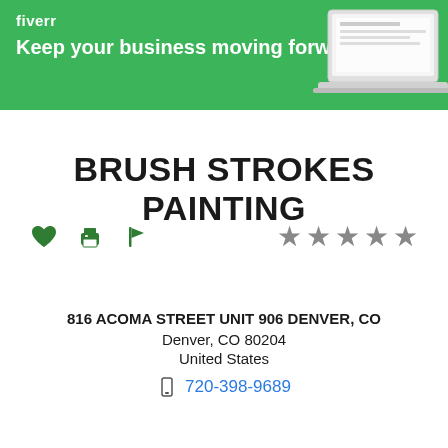[Figure (illustration): Fiverr banner with green background, logo, tagline 'Keep your business moving forward', and laptop image on right]
BRUSH STROKES PAINTING
[Figure (infographic): Action icons: heart (favorite), printer, flag; and 5 grey star rating]
816 ACOMA STREET UNIT 906 DENVER, CO
Denver, CO 80204
United States
720-398-9689